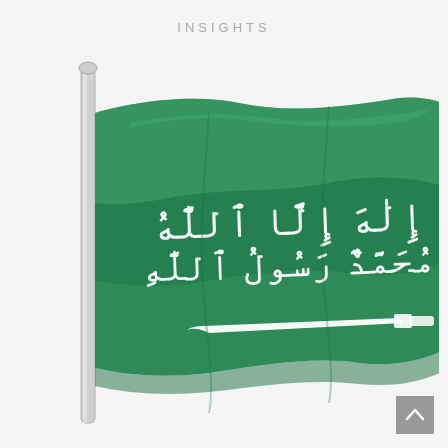INSIGHTS
[Figure (illustration): Saudi Arabia national flag waving on a pole against a light gray/white background. The flag features a green field with white Arabic inscription (Shahada) and a white sword beneath it. The flagpole is metallic/silver colored on the left side.]
[Figure (other): Scroll-to-top button — a gray square with an upward-pointing chevron/arrow icon in white, positioned in the bottom-right corner.]